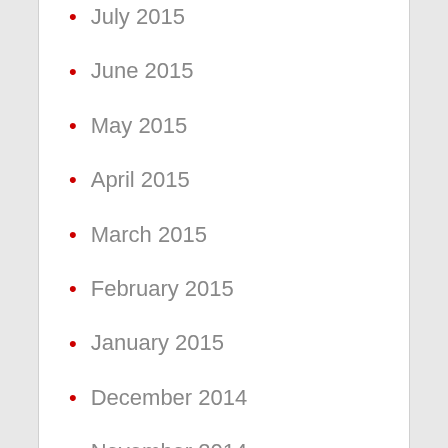July 2015
June 2015
May 2015
April 2015
March 2015
February 2015
January 2015
December 2014
November 2014
October 2014
September 2014
August 2014
July 2014